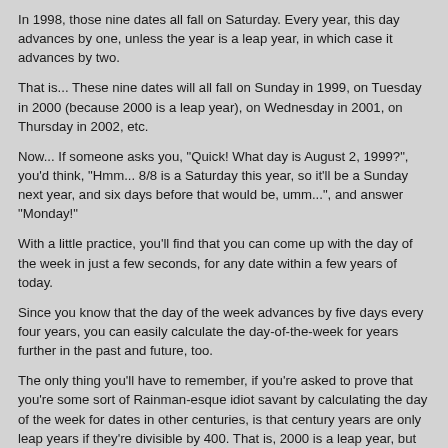In 1998, those nine dates all fall on Saturday. Every year, this day advances by one, unless the year is a leap year, in which case it advances by two.
That is... These nine dates will all fall on Sunday in 1999, on Tuesday in 2000 (because 2000 is a leap year), on Wednesday in 2001, on Thursday in 2002, etc.
Now... If someone asks you, "Quick! What day is August 2, 1999?", you'd think, "Hmm... 8/8 is a Saturday this year, so it'll be a Sunday next year, and six days before that would be, umm...", and answer "Monday!"
With a little practice, you'll find that you can come up with the day of the week in just a few seconds, for any date within a few years of today.
Since you know that the day of the week advances by five days every four years, you can easily calculate the day-of-the-week for years further in the past and future, too.
The only thing you'll have to remember, if you're asked to prove that you're some sort of Rainman-esque idiot savant by calculating the day of the week for dates in other centuries, is that century years are only leap years if they're divisible by 400. That is, 2000 is a leap year, but 1700, 1800, 1900, and 2100 aren't.
That last bit is complicated, so if it were me, I'd answer